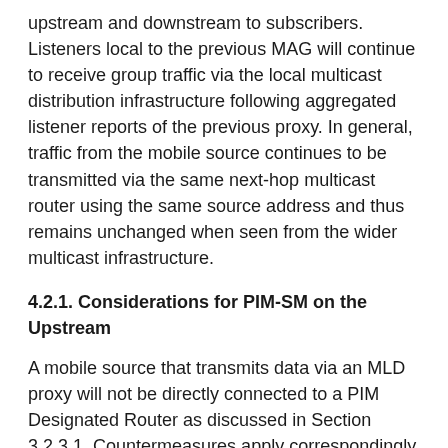upstream and downstream to subscribers. Listeners local to the previous MAG will continue to receive group traffic via the local multicast distribution infrastructure following aggregated listener reports of the previous proxy. In general, traffic from the mobile source continues to be transmitted via the same next-hop multicast router using the same source address and thus remains unchanged when seen from the wider multicast infrastructure.
4.2.1. Considerations for PIM-SM on the Upstream
A mobile source that transmits data via an MLD proxy will not be directly connected to a PIM Designated Router as discussed in Section 3.2.3.1. Countermeasures apply correspondingly.
A PIM Designated Router that is connected to MLD proxies via individual IP tunnel interfaces will experience invalid PIM source states on handover. In some implementations of PIM-SM, this could lead to an interim packet loss (see Section 3.2.3.1). This problem can be mitigated by